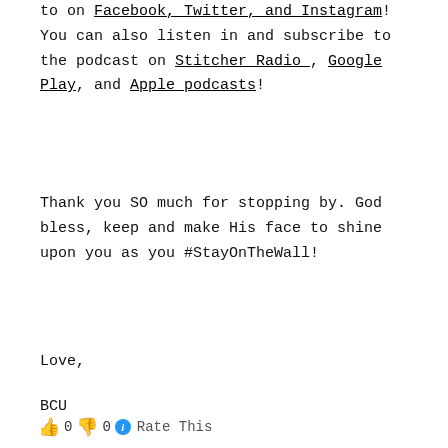to on Facebook, Twitter, and Instagram! You can also listen in and subscribe to the podcast on Stitcher Radio, Google Play, and Apple podcasts!
Thank you SO much for stopping by. God bless, keep and make His face to shine upon you as you #StayOnTheWall!
Love,
BCU
👍 0 👎 0 ℹ Rate This